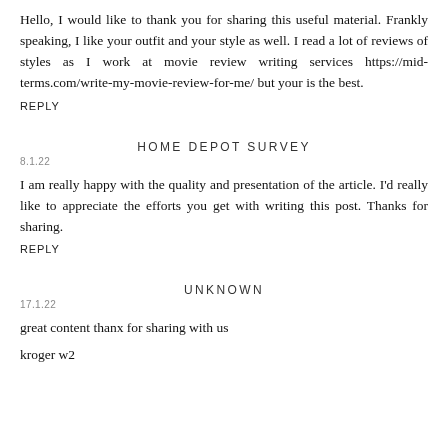Hello, I would like to thank you for sharing this useful material. Frankly speaking, I like your outfit and your style as well. I read a lot of reviews of styles as I work at movie review writing services https://mid-terms.com/write-my-movie-review-for-me/ but your is the best.
REPLY
HOME DEPOT SURVEY
8.1.22
I am really happy with the quality and presentation of the article. I'd really like to appreciate the efforts you get with writing this post. Thanks for sharing.
REPLY
UNKNOWN
17.1.22
great content thanx for sharing with us
kroger w2